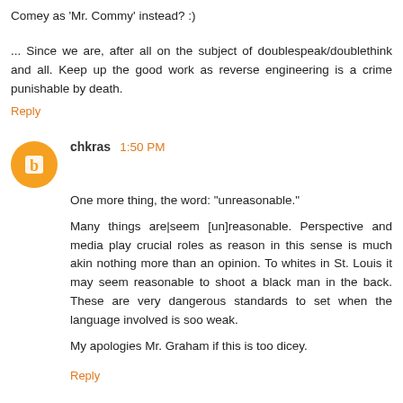Comey as 'Mr. Commy' instead? :)
... Since we are, after all on the subject of doublespeak/doublethink and all. Keep up the good work as reverse engineering is a crime punishable by death.
Reply
chkras  1:50 PM
One more thing, the word: "unreasonable."
Many things are|seem [un]reasonable. Perspective and media play crucial roles as reason in this sense is much akin nothing more than an opinion. To whites in St. Louis it may seem reasonable to shoot a black man in the back. These are very dangerous standards to set when the language involved is soo weak.
My apologies Mr. Graham if this is too dicey.
Reply